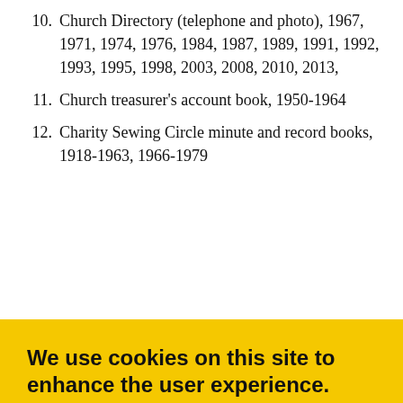10. Church Directory (telephone and photo), 1967, 1971, 1974, 1976, 1984, 1987, 1989, 1991, 1992, 1993, 1995, 1998, 2003, 2008, 2010, 2013,
11. Church treasurer's account book, 1950-1964
12. Charity Sewing Circle minute and record books, 1918-1963, 1966-1979
[Figure (screenshot): Cookie consent overlay banner with yellow background. Title: 'We use cookies on this site to enhance the user experience.' Body text: 'Select ‘Accept all’ to agree and continue. You consent to our cookies if you continue to use this website.' Black button labeled 'ACCEPT ALL' in yellow uppercase text.]
Minutes, 1980-2011
Executive meetings, 1965-1999